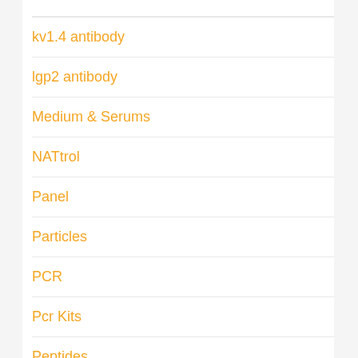kv1.4 antibody
lgp2 antibody
Medium & Serums
NATtrol
Panel
Particles
PCR
Pcr Kits
Peptides